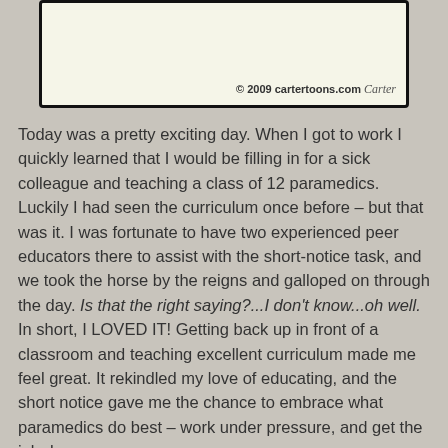[Figure (illustration): Cartoon panel with cream/off-white background showing a framed cartoon area with copyright notice '© 2009 cartertoons.com Carter' at bottom right.]
Today was a pretty exciting day. When I got to work I quickly learned that I would be filling in for a sick colleague and teaching a class of 12 paramedics. Luckily I had seen the curriculum once before – but that was it. I was fortunate to have two experienced peer educators there to assist with the short-notice task, and we took the horse by the reigns and galloped on through the day. Is that the right saying?...I don't know...oh well. In short, I LOVED IT! Getting back up in front of a classroom and teaching excellent curriculum made me feel great. It rekindled my love of educating, and the short notice gave me the chance to embrace what paramedics do best – work under pressure, and get the job done.